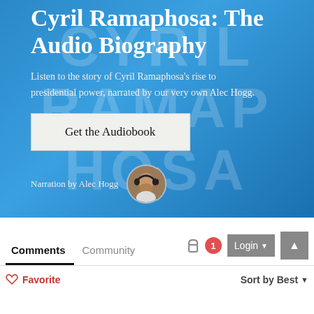Cyril Ramaphosa: The Audio Biography
Listen to the story of Cyril Ramaphosa's rise to presidential power, narrated by our very own Alec Hogg.
Get the Audiobook
Narration by Alec Hogg
[Figure (photo): Circular avatar photo of Alec Hogg wearing headphones]
Comments	Community
♡ Favorite
Sort by Best ▾